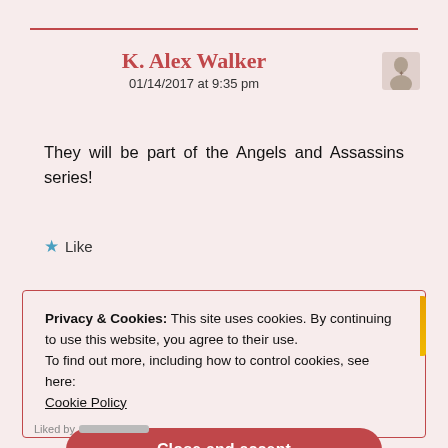K. Alex Walker — 01/14/2017 at 9:35 pm
They will be part of the Angels and Assassins series!
★ Like
Privacy & Cookies: This site uses cookies. By continuing to use this website, you agree to their use.
To find out more, including how to control cookies, see here: Cookie Policy
Close and accept